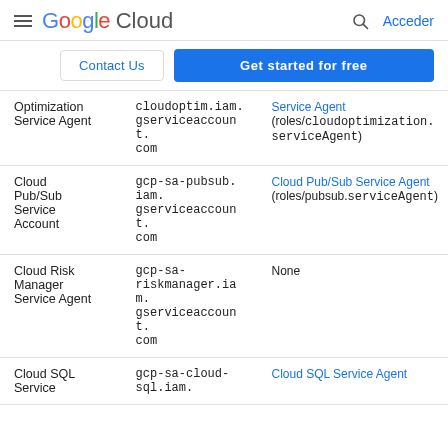Google Cloud — Acceder
Contact Us | Get started for free
| Service Account | Email | Role |
| --- | --- | --- |
| Optimization Service Agent | cloudoptim.iam.gserviceaccount.com | Service Agent (roles/cloudoptimization.serviceAgent) |
| Cloud Pub/Sub Service Account | gcp-sa-pubsub.iam.gserviceaccount.com | Cloud Pub/Sub Service Agent (roles/pubsub.serviceAgent) |
| Cloud Risk Manager Service Agent | gcp-sa-riskmanager.iam.gserviceaccount.com | None |
| Cloud SQL Service | gcp-sa-cloud-sql.iam. | Cloud SQL Service Agent |